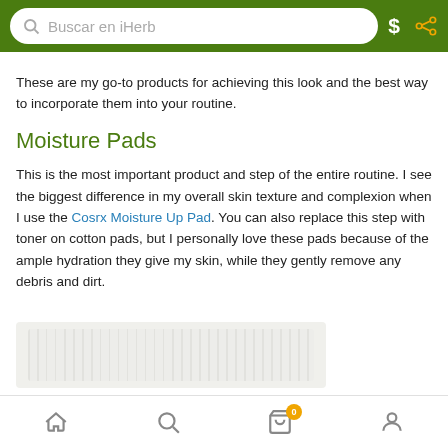Buscar en iHerb
These are my go-to products for achieving this look and the best way to incorporate them into your routine.
Moisture Pads
This is the most important product and step of the entire routine. I see the biggest difference in my overall skin texture and complexion when I use the Cosrx Moisture Up Pad. You can also replace this step with toner on cotton pads, but I personally love these pads because of the ample hydration they give my skin, while they gently remove any debris and dirt.
[Figure (photo): Product image of Cosrx Moisture Up Pad, showing a flat rectangular pad with ribbed texture on a light background]
Home | Search | Cart (0) | Account